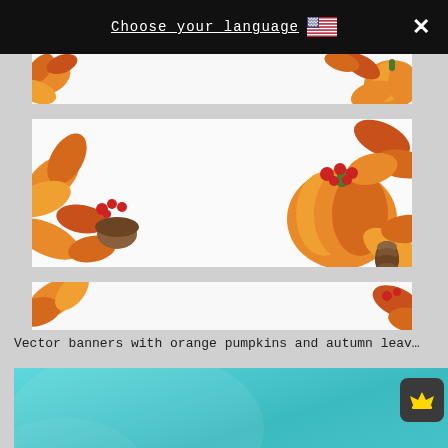Choose your language [US flag] X
[Figure (illustration): Autumn banner with orange pumpkins and fall leaves - top narrow strip]
[Figure (illustration): Autumn banner with orange pumpkins, fall leaves, red berries, and pine cones - large middle banner]
[Figure (illustration): Autumn banner with orange pumpkins and fall leaves - bottom narrow strip partially visible]
Vector banners with orange pumpkins and autumn leav…
[Figure (illustration): Teal/turquoise gradient background with white script text and a dark premium crown badge in the top right corner]